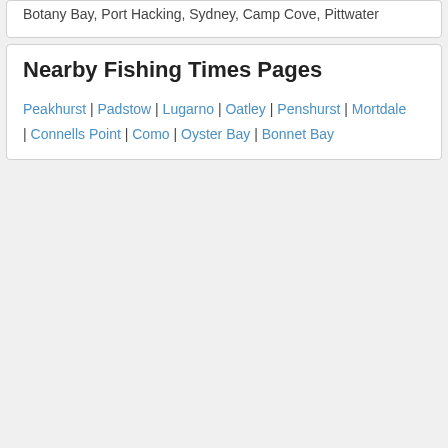Botany Bay, Port Hacking, Sydney, Camp Cove, Pittwater
Nearby Fishing Times Pages
Peakhurst | Padstow | Lugarno | Oatley | Penshurst | Mortdale | Connells Point | Como | Oyster Bay | Bonnet Bay